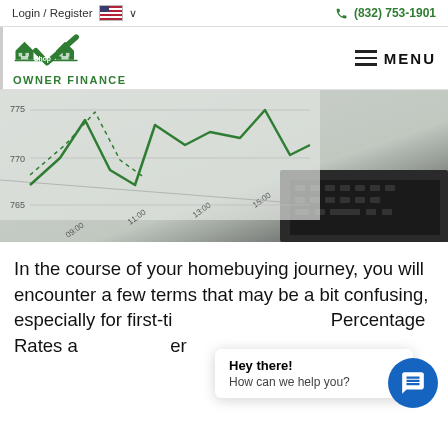Login / Register   🇺🇸 ∨        (832) 753-1901
[Figure (logo): Shop Owner Finance logo — green house silhouettes with checkmark roof, green text SHOP OWNER FINANCE]
[Figure (photo): Close-up of a laptop screen showing a financial/stock line chart with green lines, y-axis values 765, 770, 775 and x-axis time labels 09:00, 11:00, 13:00, 15:00]
In the course of your homebuying journey, you will encounter a few terms that may be a bit confusing, especially for first-ti[me buyers. Annual Percentage Rates a[nd Interest er[ms].
Hey there!
How can we help you?